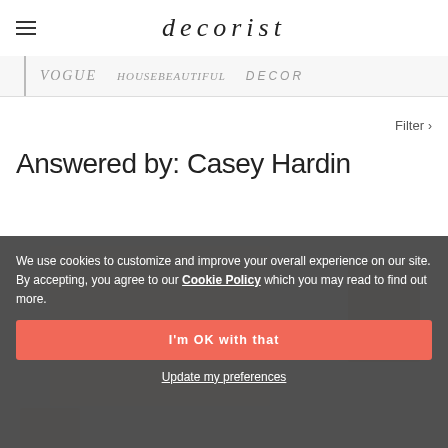decorist
[Figure (logo): Press logos bar showing Vogue, House Beautiful, and DECOR magazine logos in gray italic text]
Filter >
Answered by: Casey Hardin
[Figure (photo): Interior design room photo partially visible, dimmed by cookie consent overlay]
We use cookies to customize and improve your overall experience on our site. By accepting, you agree to our Cookie Policy which you may read to find out more.
I'm OK with that
Update my preferences